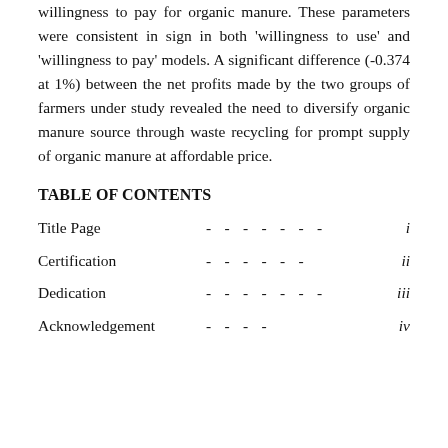willingness to pay for organic manure. These parameters were consistent in sign in both 'willingness to use' and 'willingness to pay' models. A significant difference (-0.374 at 1%) between the net profits made by the two groups of farmers under study revealed the need to diversify organic manure source through waste recycling for prompt supply of organic manure at affordable price.
TABLE OF CONTENTS
Title Page - - - - - - - i
Certification - - - - - - ii
Dedication - - - - - - - iii
Acknowledgement - - - - iv